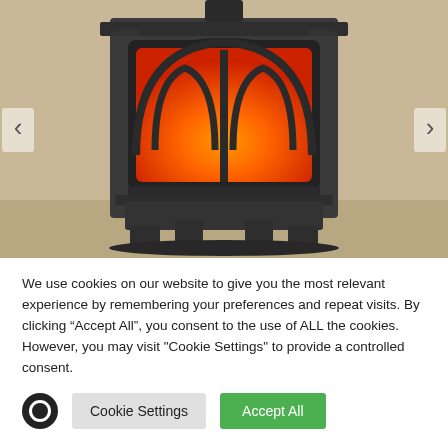[Figure (photo): A dark cast iron wood-burning stove with gothic arch glass door showing flames inside, set against a beige/tan wall. Navigation arrows on left and right sides of the image.]
We use cookies on our website to give you the most relevant experience by remembering your preferences and repeat visits. By clicking "Accept All", you consent to the use of ALL the cookies. However, you may visit "Cookie Settings" to provide a controlled consent.